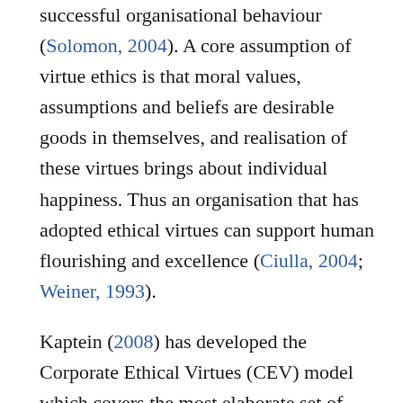successful organisational behaviour (Solomon, 2004). A core assumption of virtue ethics is that moral values, assumptions and beliefs are desirable goods in themselves, and realisation of these virtues brings about individual happiness. Thus an organisation that has adopted ethical virtues can support human flourishing and excellence (Ciulla, 2004; Weiner, 1993).
Kaptein (2008) has developed the Corporate Ethical Virtues (CEV) model which covers the most elaborate set of organisational virtues to date (for a more detailed discussion about the theoretical rationale and qualitative analysis behind these virtues, please see Kaptein, 1998, 2008, 2011). These eight virtues include clear and comprehensive ethical standards and